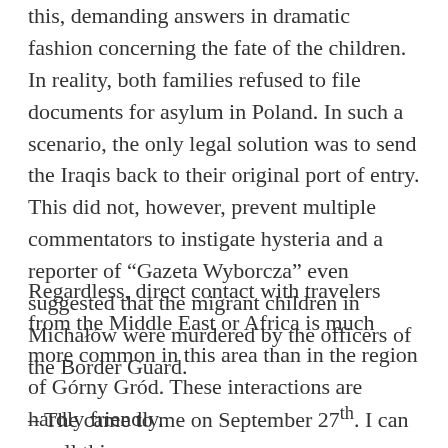this, demanding answers in dramatic fashion concerning the fate of the children. In reality, both families refused to file documents for asylum in Poland. In such a scenario, the only legal solution was to send the Iraqis back to their original port of entry. This did not, however, prevent multiple commentators to instigate hysteria and a reporter of “Gazeta Wyborcza” even suggested that the migrant children in Michałów were murdered by the officers of the Border Guard.
Regardless, direct contact with travelers from the Middle East or Africa is much more common in this area than in the region of Górny Gród. These interactions are hardly friendly.
– The came to me on September 27th. I can recall this